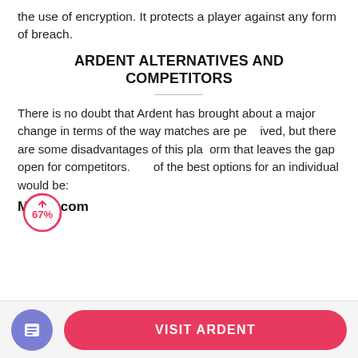the use of encryption. It protects a player against any form of breach.
ARDENT ALTERNATIVES AND COMPETITORS
There is no doubt that Ardent has brought about a major change in terms of the way matches are perceived, but there are some disadvantages of this platform that leaves the gap open for competitors. A of the best options for an individual would be:
[Figure (infographic): A circular progress indicator showing 67% in pink/red color with an upward arrow icon]
Match.com
[Figure (infographic): Bottom navigation bar with a purple circle icon (document/list icon) on the left and a pink rounded button labeled VISIT ARDENT on the right]